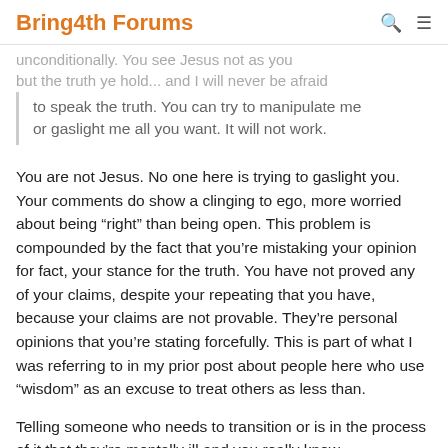Bring4th Forums
unconditionally. You see Jesus not as you... but the truth ye hold... and I will never be afraid to speak the truth. You can try to manipulate me or gaslight me all you want. It will not work.
You are not Jesus. No one here is trying to gaslight you. Your comments do show a clinging to ego, more worried about being “right” than being open. This problem is compounded by the fact that you’re mistaking your opinion for fact, your stance for the truth. You have not proved any of your claims, despite your repeating that you have, because your claims are not provable. They’re personal opinions that you’re stating forcefully. This is part of what I was referring to in my prior post about people here who use “wisdom” as an excuse to treat others as less than.
Telling someone who needs to transition or is in the process of it that they’re mentally ill and you really know